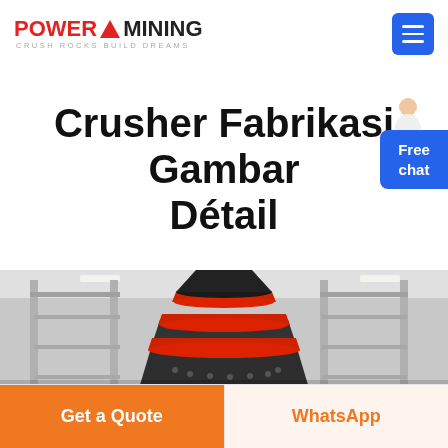POWER MINING – Crush Rocks Build Dreams
Crusher Fabrikasi Gambar Détail
[Figure (photo): Industrial cone crusher machine with red and dark grey layered cone body inside a factory warehouse setting, viewed from below/side angle.]
Free chat
Get a Quote
WhatsApp